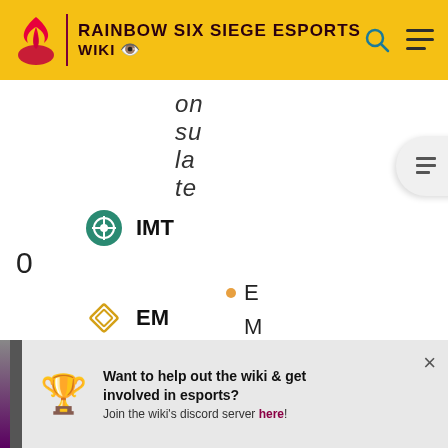RAINBOW SIX SIEGE ESPORTS WIKI
on
su
la
te
IMT
0
EM
0
E
M
Want to help out the wiki & get involved in esports?
Join the wiki's discord server here!